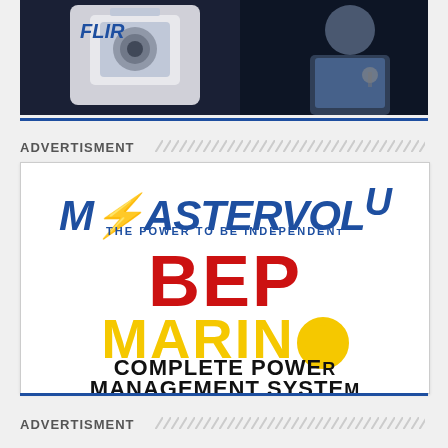[Figure (photo): Partial photo showing a FLIR camera/sensor device on the left and a person in blue shirt on the right, cropped at top]
ADVERTISMENT
[Figure (logo): Advertisement box containing Mastervolt logo with lightning bolt and tagline 'THE POWER TO BE INDEPENDENT', BEP in large red letters, MARINO in large yellow letters, and text 'COMPLETE POWER MANAGEMENT SYSTEM']
ADVERTISMENT